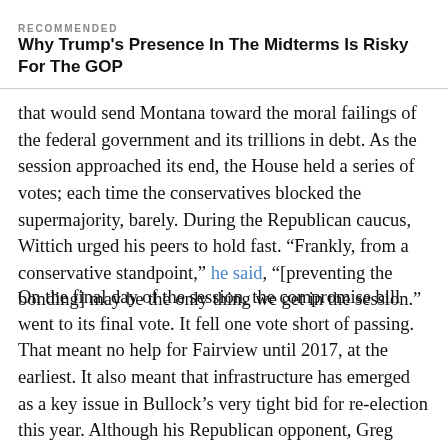RECOMMENDED
Why Trump's Presence In The Midterms Is Risky For The GOP
that would send Montana toward the moral failings of the federal government and its trillions in debt. As the session approached its end, the House held a series of votes; each time the conservatives blocked the supermajority, barely. During the Republican caucus, Wittich urged his peers to hold fast. “Frankly, from a conservative standpoint,” he said, “[preventing the bonding] may be the only thing we get in the session.”
On the final day of the session, the compromise bill went to its final vote. It fell one vote short of passing. That meant no help for Fairview until 2017, at the earliest. It also meant that infrastructure has emerged as a key issue in Bullock’s very tight bid for re-election this year. Although his Republican opponent, Greg